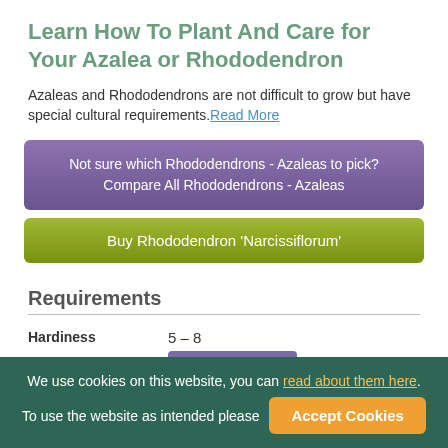Learn How To Plant And Care for Your Azalea or Rhododendron
Azaleas and Rhododendrons are not difficult to grow but have special cultural requirements. Read More
Not sure which Rhododendrons - Azaleas to pick? Compare All Rhododendrons - Azaleas
Buy Rhododendron 'Narcissiflorum'
Requirements
| Property | Value |
| --- | --- |
| Hardiness | 5 – 8 |
What's My Zone?
We use cookies on this website, you can read about them here. To use the website as intended please Accept Cookies